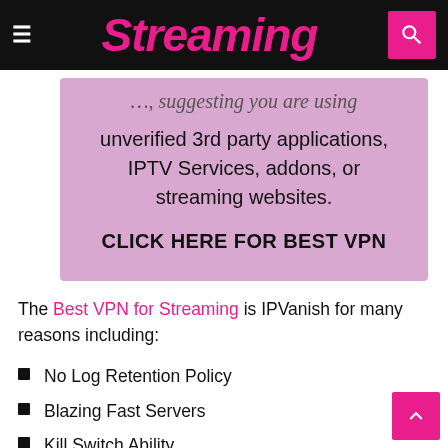Streaming
unverified 3rd party applications, IPTV Services, addons, or streaming websites.

CLICK HERE FOR BEST VPN
The Best VPN for Streaming is IPVanish for many reasons including:
No Log Retention Policy
Blazing Fast Servers
Kill Switch Ability
Unlimited Device Connections
and more